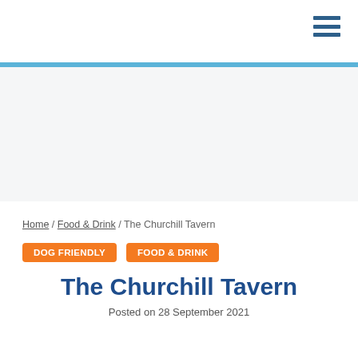Home / Food & Drink / The Churchill Tavern
DOG FRIENDLY   FOOD & DRINK
The Churchill Tavern
Posted on 28 September 2021